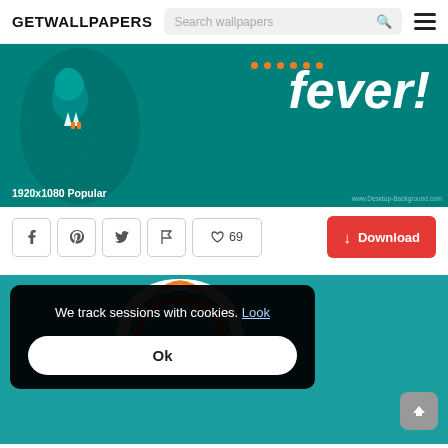GETWALLPAPERS
[Figure (screenshot): Wallpaper thumbnail showing teal background with cartoon snake character and the word 'fever!' in large white bold italic text. Bottom left shows '1920x1080 Popular'. Watermark 'www.Desktop-Background.com' at bottom right.]
1920x1080 Popular
♡ 69
↓ Download
[Figure (screenshot): Second wallpaper thumbnail showing teal background with headphone/music graphic in white and orange.]
We track sessions with cookies. Look
Ok